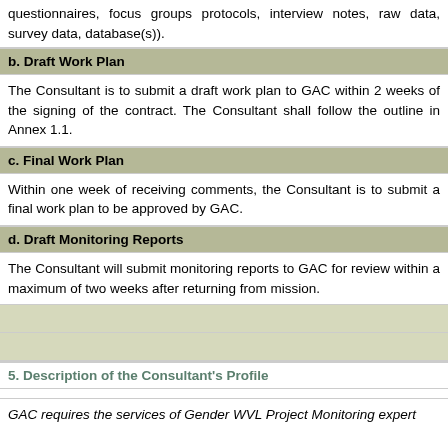questionnaires, focus groups protocols, interview notes, raw data, survey data, database(s)).
b. Draft Work Plan
The Consultant is to submit a draft work plan to GAC within 2 weeks of the signing of the contract. The Consultant shall follow the outline in Annex 1.1.
c. Final Work Plan
Within one week of receiving comments, the Consultant is to submit a final work plan to be approved by GAC.
d. Draft Monitoring Reports
The Consultant will submit monitoring reports to GAC for review within a maximum of two weeks after returning from mission.
5. Description of the Consultant's Profile
GAC requires the services of Gender WVL Project Monitoring expert